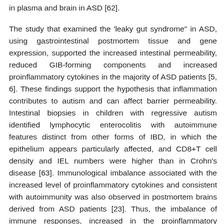in plasma and brain in ASD [62].
The study that examined the 'leaky gut syndrome" in ASD, using gastrointestinal postmortem tissue and gene expression, supported the increased intestinal permeability, reduced GIB-forming components and increased proinflammatory cytokines in the majority of ASD patients [5, 6]. These findings support the hypothesis that inflammation contributes to autism and can affect barrier permeability. Intestinal biopsies in children with regressive autism identified lymphocytic enterocolitis with autoimmune features distinct from other forms of IBD, in which the epithelium appears particularly affected, and CD8+T cell density and IEL numbers were higher than in Crohn's disease [63]. Immunological imbalance associated with the increased level of proinflammatory cytokines and consistent with autoimmunity was also observed in postmortem brains derived from ASD patients [23]. Thus, the imbalance of immune responses, increased in the proinflammatory cytokines, changes in proinflammatory interleukins, increased autoimmunity support the notion of significant involvement of immune dysfunctions in ASD.